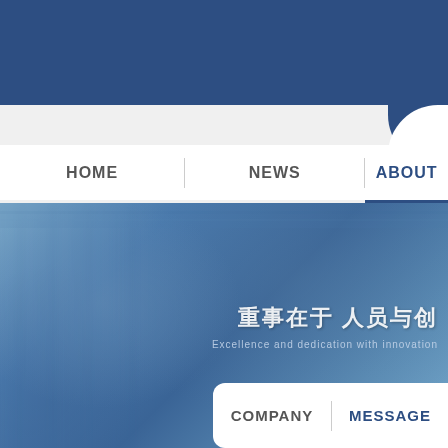[Figure (screenshot): Website screenshot showing a navigation bar with HOME, NEWS, ABOUT links, a blue hero banner with blurred fabric/clothing background and Chinese text overlay, and a dropdown submenu showing COMPANY and MESSAGE options. The page has a dark blue header bar at top and white navigation area below it.]
HOME | NEWS | ABOUT
重事在于 人员与创...
Excellence and innovation...
COMPANY | MESSAGE